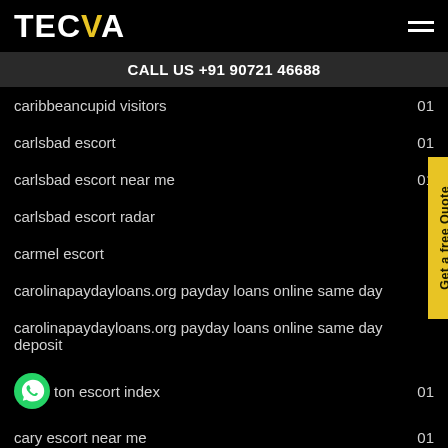TECVA
CALL US +91 90721 46688
caribbeancupid visitors  01
carlsbad escort  01
carlsbad escort near me  01
carlsbad escort radar
carmel escort
carolinapaydayloans.org payday loans online same day
carolinapaydayloans.org payday loans online same day deposit
caton escort index  01
cary escort near me  01